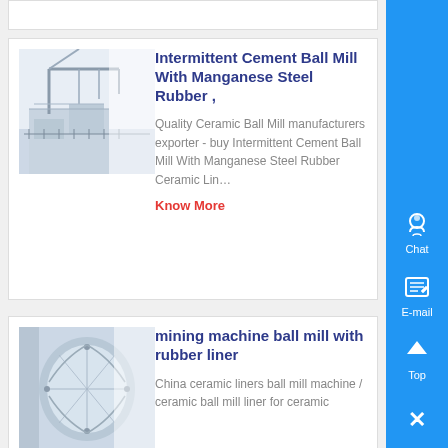[Figure (photo): Thumbnail image of cement ball mill industrial machinery with crane structure]
Intermittent Cement Ball Mill With Manganese Steel Rubber ,
Quality Ceramic Ball Mill manufacturers exporter - buy Intermittent Cement Ball Mill With Manganese Steel Rubber Ceramic Lin…
Know More
[Figure (photo): Thumbnail image of mining machine ball mill interior with rubber liner]
mining machine ball mill with rubber liner
China ceramic liners ball mill machine / ceramic ball mill liner for ceramic